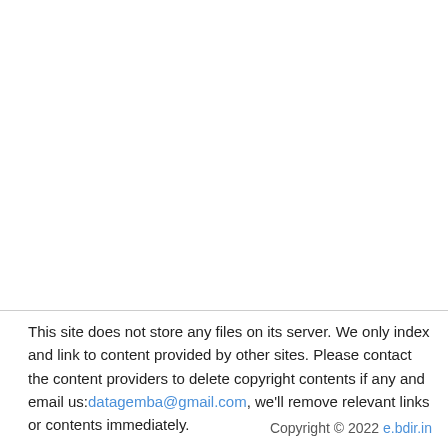This site does not store any files on its server. We only index and link to content provided by other sites. Please contact the content providers to delete copyright contents if any and email us:datagemba@gmail.com, we'll remove relevant links or contents immediately.
Copyright © 2022 e.bdir.in